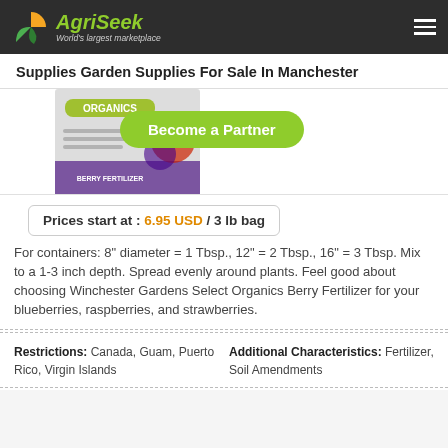AgriSeek — World's largest marketplace
Supplies Garden Supplies For Sale In Manchester
[Figure (photo): Product image of organics berry fertilizer container with raspberries and blueberries, partially visible. Green 'Become a Partner' button overlay.]
Prices start at : 6.95 USD / 3 lb bag
For containers: 8" diameter = 1 Tbsp., 12" = 2 Tbsp., 16" = 3 Tbsp. Mix to a 1-3 inch depth. Spread evenly around plants. Feel good about choosing Winchester Gardens Select Organics Berry Fertilizer for your blueberries, raspberries, and strawberries.
| Restrictions | Additional Characteristics |
| --- | --- |
| Canada, Guam, Puerto Rico, Virgin Islands | Fertilizer, Soil Amendments |